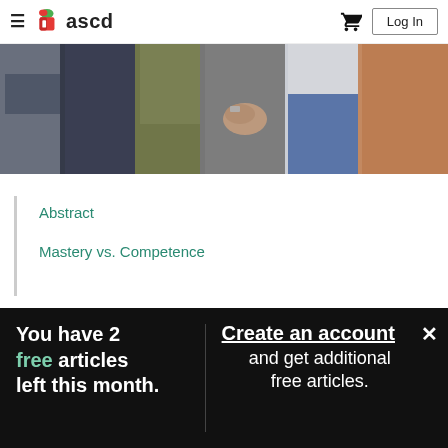ascd — Log In
[Figure (photo): Group of people standing together, showing torsos and hands clasped together, wearing various colored outfits]
Abstract
Mastery vs. Competence
You have 2 free articles left this month.
Create an account and get additional free articles.